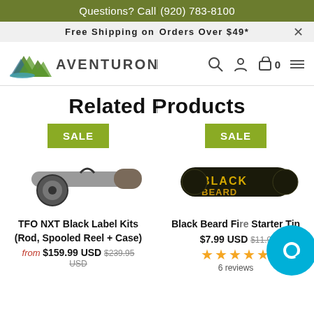Questions? Call (920) 783-8100
Free Shipping on Orders Over $49*
[Figure (logo): Aventuron mountain logo with green and teal colors and text AVENTURON]
Related Products
SALE
[Figure (photo): TFO NXT Black Label fly fishing rod kit with case and reel]
TFO NXT Black Label Kits (Rod, Spooled Reel + Case)
from $159.99 USD $239.95 USD
SALE
[Figure (photo): Black Beard Fire Starter Tin with black and gold packaging]
Black Beard Fire Starter Tin
$7.99 USD $11.99
★★★★★
6 reviews